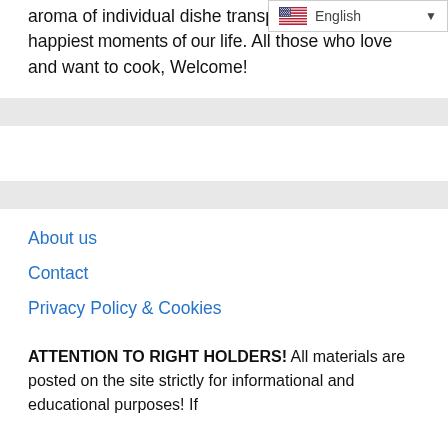aroma of individual dishes can transport us to the happiest moments of our life. All those who love and want to cook, Welcome!
About us
Contact
Privacy Policy & Cookies
ATTENTION TO RIGHT HOLDERS! All materials are posted on the site strictly for informational and educational purposes! If